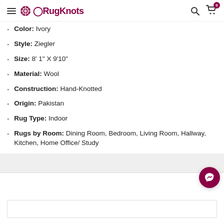RugKnots
Color: Ivory
Style: Ziegler
Size: 8' 1" X 9'10"
Material: Wool
Construction: Hand-Knotted
Origin: Pakistan
Rug Type: Indoor
Rugs by Room: Dining Room, Bedroom, Living Room, Hallway, Kitchen, Home Office/ Study